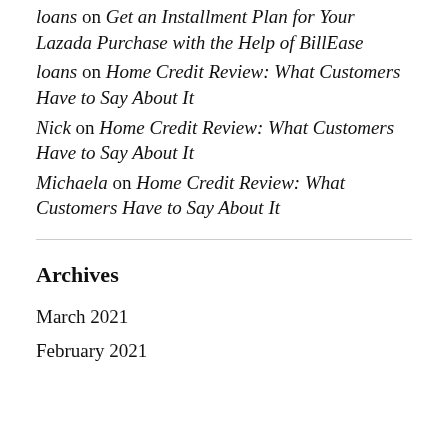loans on Get an Installment Plan for Your Lazada Purchase with the Help of BillEase
loans on Home Credit Review: What Customers Have to Say About It
Nick on Home Credit Review: What Customers Have to Say About It
Michaela on Home Credit Review: What Customers Have to Say About It
Archives
March 2021
February 2021